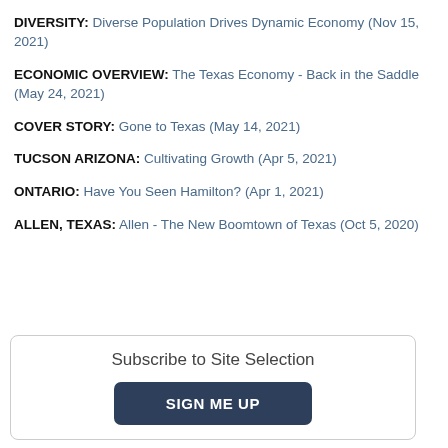DIVERSITY: Diverse Population Drives Dynamic Economy (Nov 15, 2021)
ECONOMIC OVERVIEW: The Texas Economy - Back in the Saddle (May 24, 2021)
COVER STORY: Gone to Texas (May 14, 2021)
TUCSON ARIZONA: Cultivating Growth (Apr 5, 2021)
ONTARIO: Have You Seen Hamilton? (Apr 1, 2021)
ALLEN, TEXAS: Allen - The New Boomtown of Texas (Oct 5, 2020)
Subscribe to Site Selection
SIGN ME UP